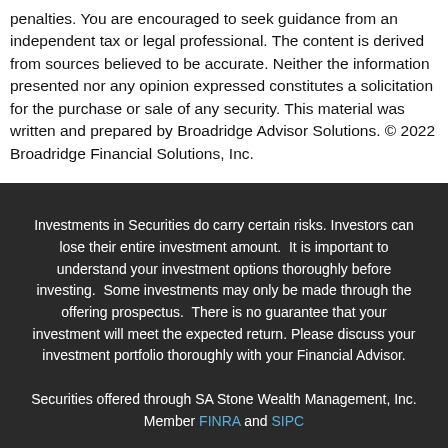penalties. You are encouraged to seek guidance from an independent tax or legal professional. The content is derived from sources believed to be accurate. Neither the information presented nor any opinion expressed constitutes a solicitation for the purchase or sale of any security. This material was written and prepared by Broadridge Advisor Solutions. © 2022 Broadridge Financial Solutions, Inc.
Investments in Securities do carry certain risks. Investors can lose their entire investment amount. It is important to understand your investment options thoroughly before investing. Some investments may only be made through the offering prospectus. There is no guarantee that your investment will meet the expected return. Please discuss your investment portfolio thoroughly with your Financial Advisor.
Securities offered through SA Stone Wealth Management, Inc. Member FINRA and SIPC